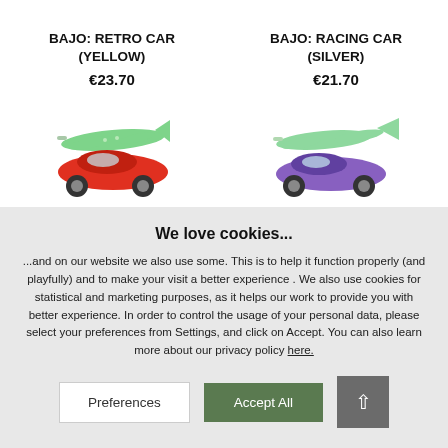BAJO: RETRO CAR (YELLOW)
€23.70
[Figure (illustration): Toy retro car (red body) with green airplane/plane on top, viewed from the side. Colorful wooden toy.]
BAJO: RACING CAR (SILVER)
€21.70
[Figure (illustration): Toy racing car (purple/blue body) with green propeller plane on top, partially visible, viewed from the side.]
We love cookies...
...and on our website we also use some. This is to help it function properly (and playfully) and to make your visit a better experience . We also use cookies for statistical and marketing purposes, as it helps our work to provide you with better experience. In order to control the usage of your personal data, please select your preferences from Settings, and click on Accept. You can also learn more about our privacy policy here.